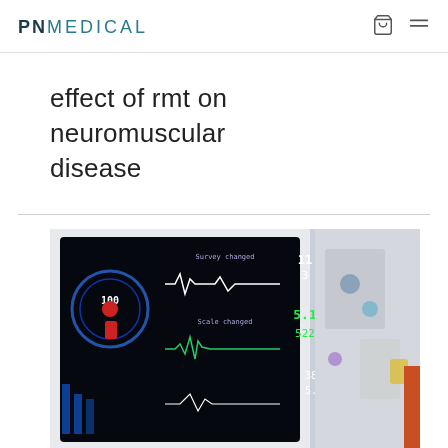PNMEDICAL
effect of rmt on neuromuscular disease
[Figure (photo): Close-up photograph of a medical monitoring device screen showing waveforms, vital signs readings including numbers like 5, 11, 3, 5.1, 522, and colored displays. Medical equipment visible in background.]